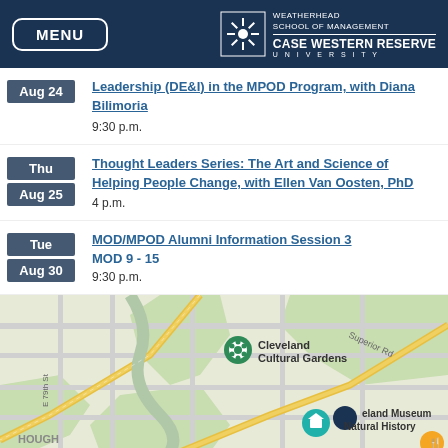MENU | WEATHERHEAD SCHOOL OF MANAGEMENT | CASE WESTERN RESERVE UNIVERSITY
Aug 24 — Leadership (DE&I) in the MPOD Program, with Diana Bilimoria — 9:30 p.m.
Thu / Aug 25 — Thought Leaders Series: The Art and Science of Helping People Change, with Ellen Van Oosten, PhD — 4 p.m.
Tue / Aug 30 — MOD/MPOD Alumni Information Session 3 MOD 9 - 15 — 9:30 p.m.
[Figure (map): Google Maps screenshot showing Cleveland Cultural Gardens, Cleveland Museum of Natural History, with streets including E 79th St, Superior Rd, and neighborhood HOUGH.]